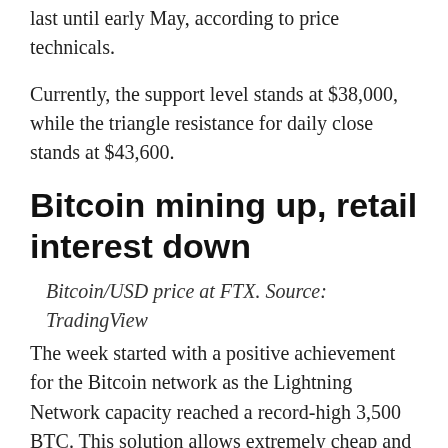last until early May, according to price technicals.
Currently, the support level stands at $38,000, while the triangle resistance for daily close stands at $43,600.
Bitcoin mining up, retail interest down
Bitcoin/USD price at FTX. Source: TradingView
The week started with a positive achievement for the Bitcoin network as the Lightning Network capacity reached a record-high 3,500 BTC. This solution allows extremely cheap and instant transactions on a secondary layer, known as off-chain processing.
After cryptocurrency mining activities were